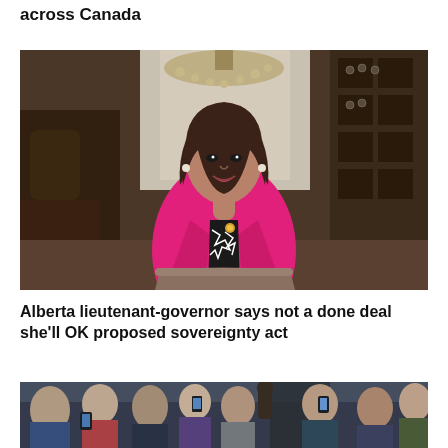across Canada
[Figure (photo): Woman in bright pink blazer standing behind a chair in an elegant wood-paneled room with chandelier and cabinet in background]
Alberta lieutenant-governor says not a done deal she'll OK proposed sovereignty act
[Figure (photo): Crowd of people at an outdoor event, several holding up phones to take photos]